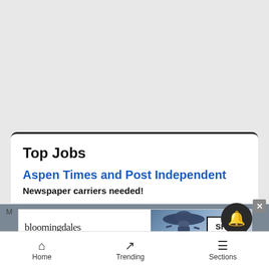Top Jobs
Aspen Times and Post Independent
Newspaper carriers needed!
[Figure (illustration): Bloomingdales advertisement banner showing a woman wearing a wide-brimmed hat with text 'bloomingdales', 'View Today's Top Deals!' and a 'SHOP NOW >' button]
Home   Trending   Sections